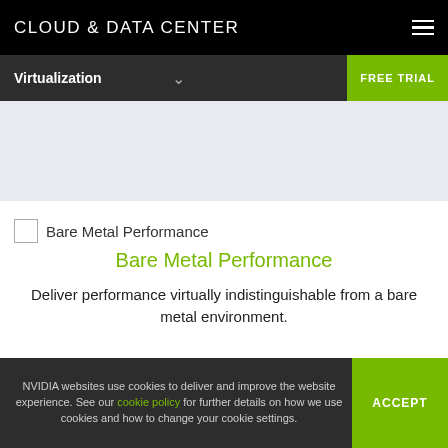CLOUD & DATA CENTER
Virtualization
[Figure (other): Light gray hero banner area for NVIDIA Virtualization page]
[Figure (logo): Small icon placeholder for Bare Metal Performance]
Bare Metal Performance
Bare Metal Performance
Deliver performance virtually indistinguishable from a bare metal environment.
NVIDIA websites use cookies to deliver and improve the website experience. See our cookie policy for further details on how we use cookies and how to change your cookie settings.